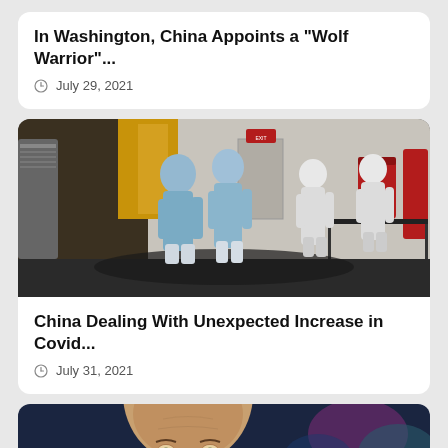In Washington, China Appoints a "Wolf Warrior"...
July 29, 2021
[Figure (photo): People in blue and white hazmat/PPE suits in an industrial corridor with red equipment stands]
China Dealing With Unexpected Increase in Covid...
July 31, 2021
[Figure (photo): Close-up of a bald man's face against a blurred colorful background]